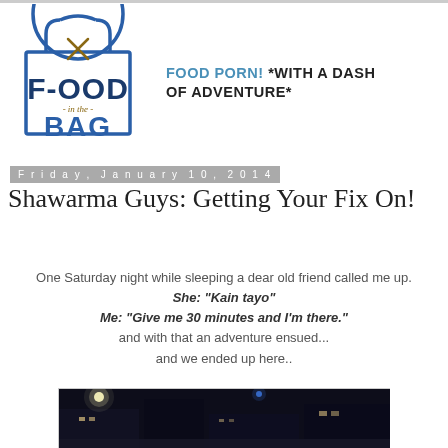[Figure (logo): Food in the Bag logo — circular design with shopping bag outline, crossed fork and knife, bold lettering FOOD-in the-BAG in navy/blue]
FOOD PORN! *WITH A DASH OF ADVENTURE*
Friday, January 10, 2014
Shawarma Guys: Getting Your Fix On!
One Saturday night while sleeping a dear old friend called me up.
She: "Kain tayo"
Me: "Give me 30 minutes and I'm there."
and with that an adventure ensued...
and we ended up here..
[Figure (photo): Nighttime outdoor photo of a restaurant or street food stall, dark scene with ambient lights]